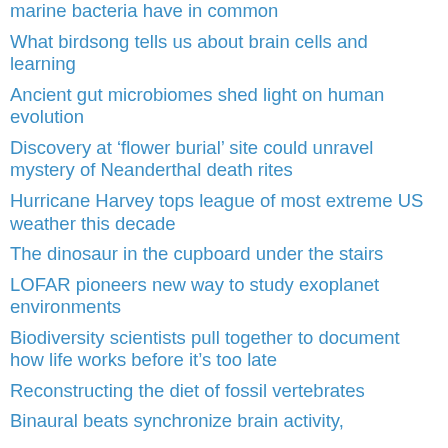marine bacteria have in common
What birdsong tells us about brain cells and learning
Ancient gut microbiomes shed light on human evolution
Discovery at ‘flower burial’ site could unravel mystery of Neanderthal death rites
Hurricane Harvey tops league of most extreme US weather this decade
The dinosaur in the cupboard under the stairs
LOFAR pioneers new way to study exoplanet environments
Biodiversity scientists pull together to document how life works before it’s too late
Reconstructing the diet of fossil vertebrates
Binaural beats synchronize brain activity,